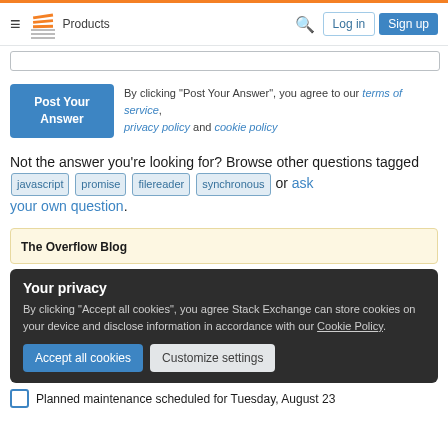Stack Overflow navigation bar with Products, Log in, Sign up
Post Your Answer — By clicking "Post Your Answer", you agree to our terms of service, privacy policy and cookie policy
Not the answer you're looking for? Browse other questions tagged javascript promise filereader synchronous or ask your own question.
The Overflow Blog
Your privacy
By clicking "Accept all cookies", you agree Stack Exchange can store cookies on your device and disclose information in accordance with our Cookie Policy.
Planned maintenance scheduled for Tuesday, August 23